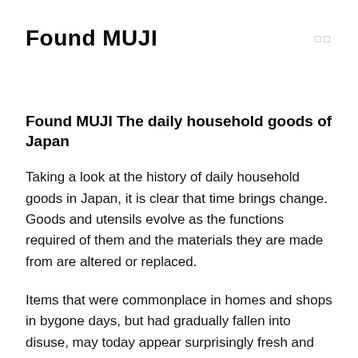Found MUJI
Found MUJI The daily household goods of Japan
Taking a look at the history of daily household goods in Japan, it is clear that time brings change. Goods and utensils evolve as the functions required of them and the materials they are made from are altered or replaced.
Items that were commonplace in homes and shops in bygone days, but had gradually fallen into disuse, may today appear surprisingly fresh and suitable for use.
In this issue of Found MUJI, we consider what makes for a good utensil or household item, while also